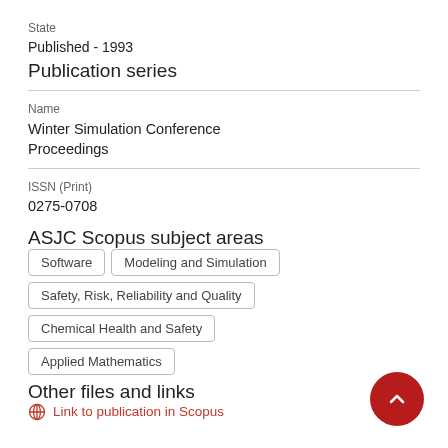State
Published - 1993
Publication series
Name
Winter Simulation Conference Proceedings
ISSN (Print)
0275-0708
ASJC Scopus subject areas
Software
Modeling and Simulation
Safety, Risk, Reliability and Quality
Chemical Health and Safety
Applied Mathematics
Other files and links
Link to publication in Scopus